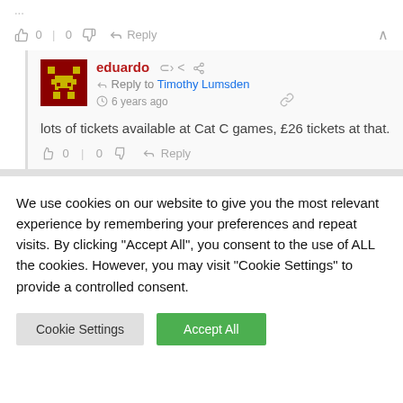...
👍 0 | 0 👎 → Reply ∧
eduardo · Reply to Timothy Lumsden · 6 years ago
lots of tickets available at Cat C games, £26 tickets at that.
👍 0 | 0 👎 → Reply
We use cookies on our website to give you the most relevant experience by remembering your preferences and repeat visits. By clicking "Accept All", you consent to the use of ALL the cookies. However, you may visit "Cookie Settings" to provide a controlled consent.
Cookie Settings | Accept All